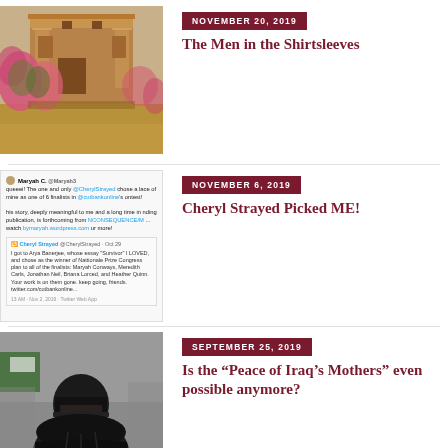[Figure (photo): Petra Jordan ancient carved rock facade with pink flowering oleander trees in foreground]
NOVEMBER 20, 2019
The Men in the Shirtsleeves
[Figure (screenshot): Tweet screenshot: Maryah C. tweet about Cheryl Strayed choosing her piece as one of 6 finalists in Cutbank Online contest, with retweet from Cheryl Strayed]
NOVEMBER 6, 2019
Cheryl Strayed Picked ME!
[Figure (photo): Woman wearing full black niqab and abaya]
SEPTEMBER 25, 2019
Is the “Peace of Iraq’s Mothers” even possible anymore?